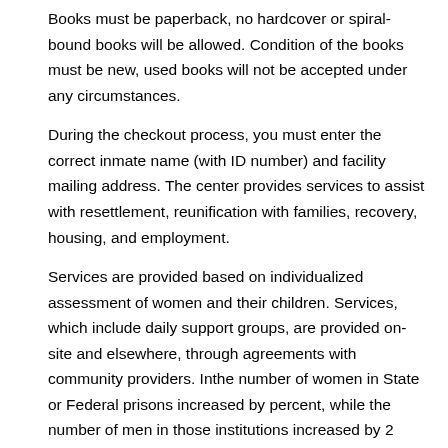Books must be paperback, no hardcover or spiral-bound books will be allowed. Condition of the books must be new, used books will not be accepted under any circumstances.
During the checkout process, you must enter the correct inmate name (with ID number) and facility mailing address. The center provides services to assist with resettlement, reunification with families, recovery, housing, and employment.
Services are provided based on individualized assessment of women and their children. Services, which include daily support groups, are provided on-site and elsewhere, through agreements with community providers. Inthe number of women in State or Federal prisons increased by percent, while the number of men in those institutions increased by 2 percent.
Women accounted for percent of all inmates in State and Federal prisons as of yearendan increase from percent of all inmates in (Harrison and Beck ). Also be sure to note that this is a list of Federal level female only programs.